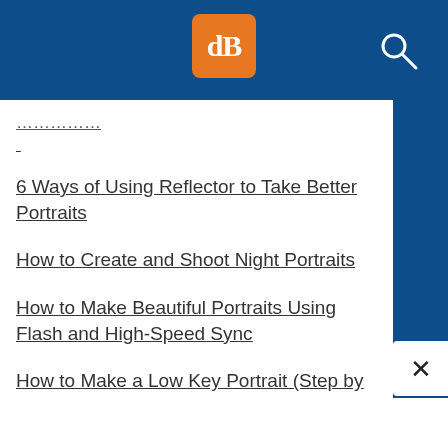[Figure (logo): dPS logo: orange rounded square with 'dB' text in white serif font, on dark blue header bar with search icon]
6 Ways of Using Reflector to Take Better Portraits
How to Create and Shoot Night Portraits
How to Make Beautiful Portraits Using Flash and High-Speed Sync
How to Make a Low Key Portrait (Step by Step)
Fill Flash Photography: How to Get Beautiful Portraits (Even in Bad Light)
A Lighting Ratios Guide: How to Make (or Break) Your Portraits